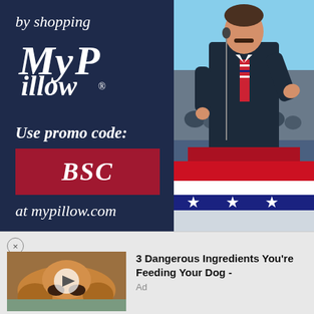[Figure (photo): MyPillow advertisement showing navy blue left panel with 'by shopping MyPillow®', 'Use promo code: BSC at mypillow.com' text, and right panel showing a man in a suit speaking at a podium with patriotic red/white/blue bunting below]
3 Dangerous Ingredients You're Feeding Your Dog - Ad